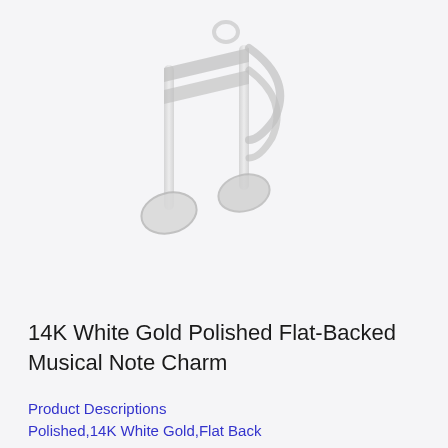[Figure (photo): A white gold polished musical note charm (double eighth note / beamed notes) shown against a light gray background. The charm appears silvery-white with a glossy finish.]
14K White Gold Polished Flat-Backed Musical Note Charm
Product Descriptions
Polished,14K White Gold,Flat Back